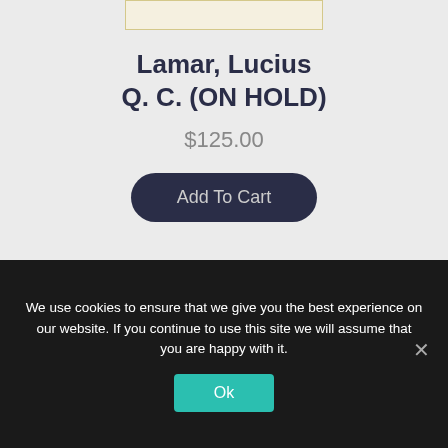[Figure (other): Product image placeholder at top]
Lamar, Lucius Q. C. (ON HOLD)
$125.00
Add To Cart
Mailing List
We use cookies to ensure that we give you the best experience on our website. If you continue to use this site we will assume that you are happy with it.
Ok